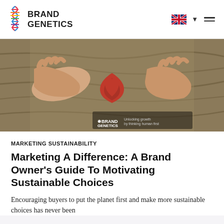Brand Genetics
[Figure (photo): Hands hugging a tree trunk with a red heart shape on the bark. Brand Genetics logo and tagline 'Unlocking growth by thinking human first' visible in lower portion of image.]
MARKETING SUSTAINABILITY
Marketing A Difference: A Brand Owner's Guide To Motivating Sustainable Choices
Encouraging buyers to put the planet first and make more sustainable choices has never been